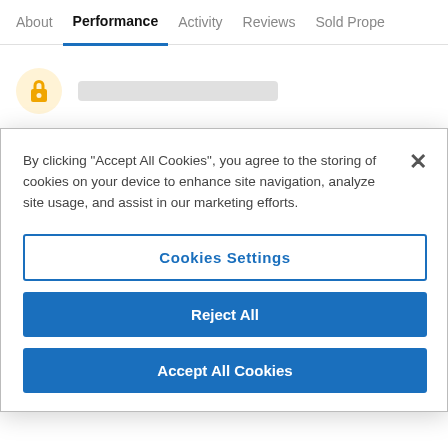About  Performance  Activity  Reviews  Sold Proper
[Figure (screenshot): Lock icon in a circular orange/yellow background with a gray placeholder bar]
Fee
By clicking “Accept All Cookies”, you agree to the storing of cookies on your device to enhance site navigation, analyze site usage, and assist in our marketing efforts.
Cookies Settings
Reject All
Accept All Cookies